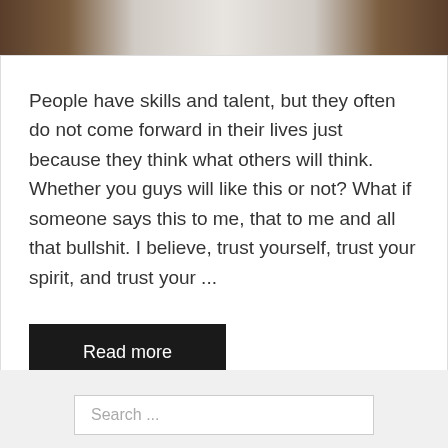[Figure (photo): Partial photo at the top of a blog post card showing wooden furniture and a white surface in a room setting]
People have skills and talent, but they often do not come forward in their lives just because they think what others will think. Whether you guys will like this or not? What if someone says this to me, that to me and all that bullshit. I believe, trust yourself, trust your spirit, and trust your ...
Read more
Search ...